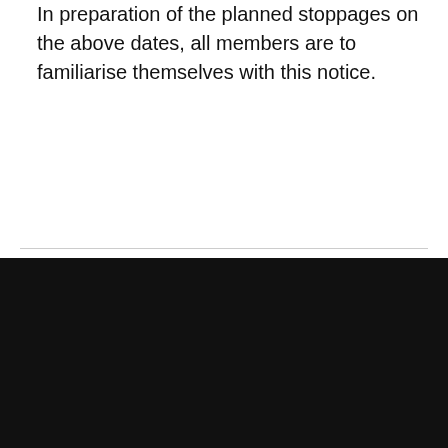In preparation of the planned stoppages on the above dates, all members are to familiarise themselves with this notice.
Members subscribe to receive instant updates
UPDATES VIA EMAIL
UPDATES VIA TEXT